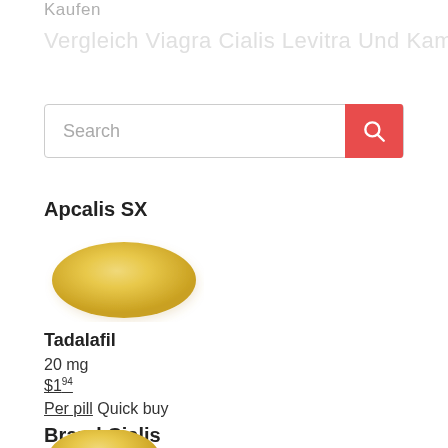Kaufen
Vergleich Viagra Cialis Levitra Und Kamagra
[Figure (screenshot): Search bar with text input placeholder 'Search' and a red search button with magnifying glass icon]
Apcalis SX
[Figure (photo): Yellow oval pill tablet on white background]
Tadalafil
20 mg
$1.94
Per pill Quick buy
Brand Cialis
[Figure (photo): Yellow oval pill tablet on white background, partially visible at bottom]